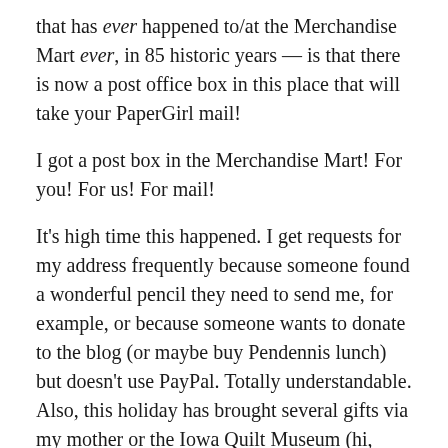that has ever happened to/at the Merchandise Mart ever, in 85 historic years — is that there is now a post office box in this place that will take your PaperGirl mail!
I got a post box in the Merchandise Mart! For you! For us! For mail!
It's high time this happened. I get requests for my address frequently because someone found a wonderful pencil they need to send me, for example, or because someone wants to donate to the blog (or maybe buy Pendennis lunch) but doesn't use PayPal. Totally understandable. Also, this holiday has brought several gifts via my mother or the Iowa Quilt Museum (hi, Tammy!) and while it's interesting to think about the journey of such things, let's make this easier on everyone!